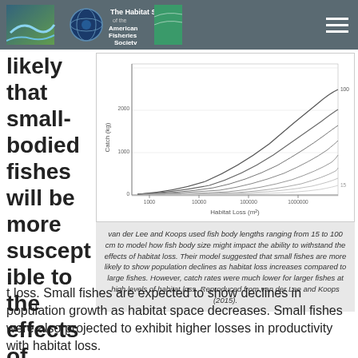The Habitat Section of the American Fisheries Society
likely that small-bodied fishes will be more susceptible to the effects of habitat loss.
[Figure (continuous-plot): Graph showing Catch (kg) vs Habitat Loss (m²) on log-log axes, with multiple curves representing different fish body lengths (15 to 100 cm). Curves show that smaller fish decline faster with habitat loss while larger fish have lower catch rates at high habitat loss levels.]
van der Lee and Koops used fish body lengths ranging from 15 to 100 cm to model how fish body size might impact the ability to withstand the effects of habitat loss. Their model suggested that small fishes are more likely to show population declines as habitat loss increases compared to large fishes. However, catch rates were much lower for larger fishes at high levels of habitat loss. Reproduced from van der Lee and Koops (2015).
habitat loss. Small fishes are expected to show declines in population growth as habitat space decreases. Small fishes were also projected to exhibit higher losses in productivity with habitat loss.